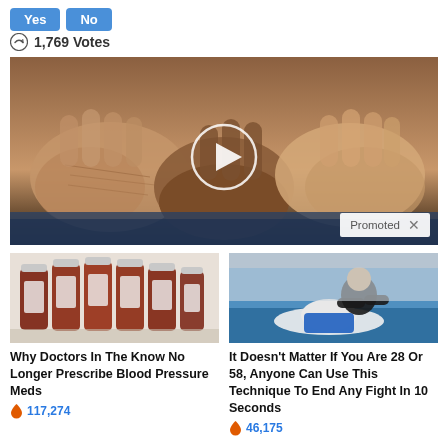Yes  No
🔄 1,769 Votes
[Figure (photo): Video thumbnail showing two pairs of hands side by side — one aged/wrinkled and one younger — with a circular white play button overlay. A 'Promoted X' badge is in the bottom right corner.]
[Figure (photo): Photo of several amber prescription medicine bottles lined up.]
Why Doctors In The Know No Longer Prescribe Blood Pressure Meds
🔥 117,274
[Figure (photo): Photo of a martial arts instructor demonstrating a ground technique on a student on a blue mat.]
It Doesn't Matter If You Are 28 Or 58, Anyone Can Use This Technique To End Any Fight In 10 Seconds
🔥 46,175